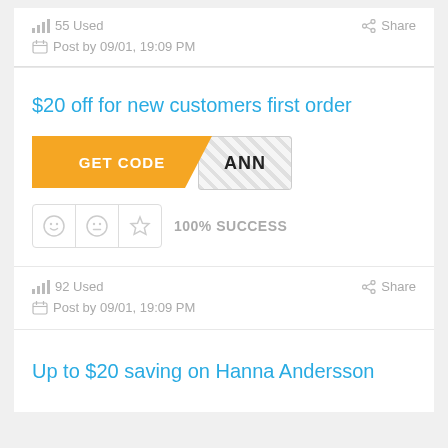55 Used   Share   Post by 09/01, 19:09 PM
$20 off for new customers first order
[Figure (other): Orange GET CODE button with diagonal cut revealing striped code area showing 'ANN']
100% SUCCESS
92 Used   Share   Post by 09/01, 19:09 PM
Up to $20 saving on Hanna Andersson